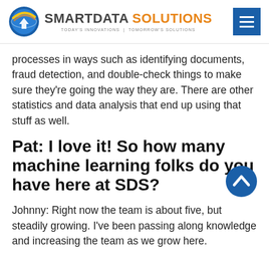SMARTDATA SOLUTIONS — TODAY'S INNOVATIONS | TOMORROW'S SOLUTIONS
processes in ways such as identifying documents, fraud detection, and double-check things to make sure they're going the way they are. There are other statistics and data analysis that end up using that stuff as well.
Pat: I love it! So how many machine learning folks do you have here at SDS?
Johnny: Right now the team is about five, but steadily growing. I've been passing along knowledge and increasing the team as we grow here.